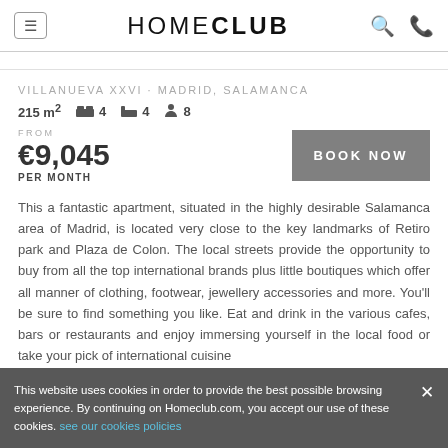HOME CLUB
VILLANUEVA XXVI · MADRID, SALAMANCA
215 m² 🛏 4 🛁 4 👤 8
FROM
€9,045
PER MONTH
BOOK NOW
This a fantastic apartment, situated in the highly desirable Salamanca area of Madrid, is located very close to the key landmarks of Retiro park and Plaza de Colon. The local streets provide the opportunity to buy from all the top international brands plus little boutiques which offer all manner of clothing, footwear, jewellery accessories and more. You'll be sure to find something you like. Eat and drink in the various cafes, bars or restaurants and enjoy immersing yourself in the local food or take your pick of international cuisine
This website uses cookies in order to provide the best possible browsing experience. By continuing on Homeclub.com, you accept our use of these cookies. see our cookies policies